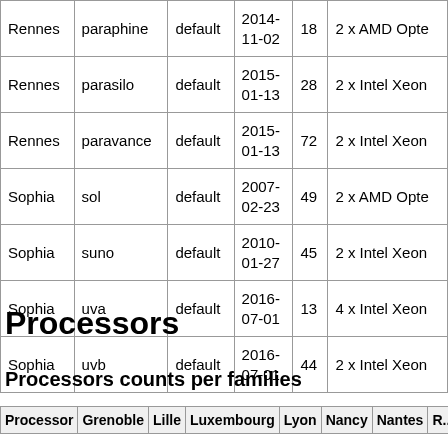| Site | Cluster | Queue | Date | Nodes | Processors |
| --- | --- | --- | --- | --- | --- |
| Rennes | paraphine | default | 2014-11-02 | 18 | 2 x AMD Opte... |
| Rennes | parasilo | default | 2015-01-13 | 28 | 2 x Intel Xeon |
| Rennes | paravance | default | 2015-01-13 | 72 | 2 x Intel Xeon |
| Sophia | sol | default | 2007-02-23 | 49 | 2 x AMD Opte... |
| Sophia | suno | default | 2010-01-27 | 45 | 2 x Intel Xeon |
| Sophia | uva | default | 2016-07-01 | 13 | 4 x Intel Xeon |
| Sophia | uvb | default | 2016-07-01 | 44 | 2 x Intel Xeon |
Processors
Processors counts per families
| Processor | Grenoble | Lille | Luxembourg | Lyon | Nancy | Nantes | R... |
| --- | --- | --- | --- | --- | --- | --- | --- |